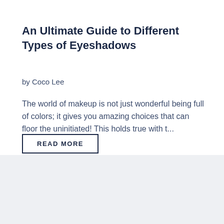An Ultimate Guide to Different Types of Eyeshadows
by Coco Lee
The world of makeup is not just wonderful being full of colors; it gives you amazing choices that can floor the uninitiated! This holds true with t...
READ MORE